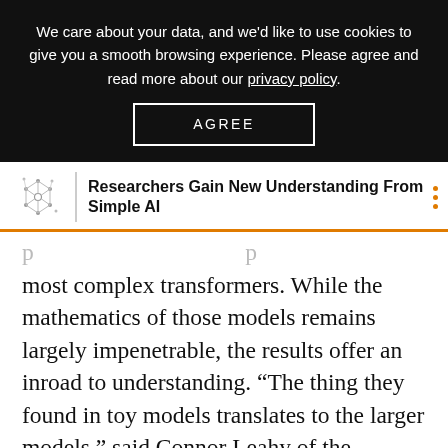We care about your data, and we'd like to use cookies to give you a smooth browsing experience. Please agree and read more about our privacy policy.
AGREE
Researchers Gain New Understanding From Simple AI
most complex transformers. While the mathematics of those models remains largely impenetrable, the results offer an inroad to understanding. “The thing they found in toy models translates to the larger models,” said Connor Leahy of the company Conjecture and the research group EleutherAI.
The difficult in understanding transformers...